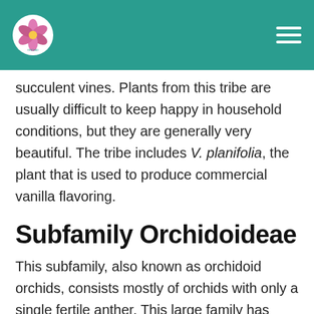Orchid [logo] — navigation header
succulent vines. Plants from this tribe are usually difficult to keep happy in household conditions, but they are generally very beautiful. The tribe includes V. planifolia, the plant that is used to produce commercial vanilla flavoring.
Subfamily Orchidoideae
This subfamily, also known as orchidoid orchids, consists mostly of orchids with only a single fertile anther. This large family has showy flowers on the ends of its stems that are in an erect or arching pattern. Orchids from this family are found all over the world.